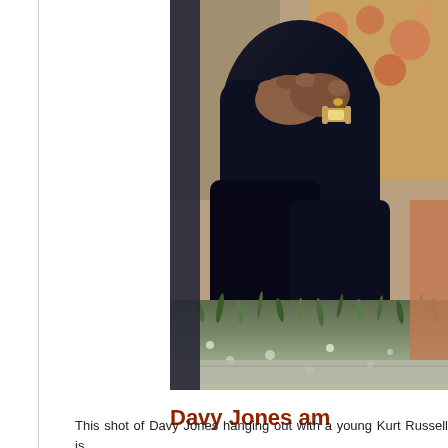[Figure (photo): A close-up photograph of people sitting outdoors on grass/ground near a wall. The image shows someone in dark clothing with hands clasped, wearing a watch and ring. Appears to be a vintage/retro photograph with muted colors.]
Davy Jones am
This shot of Davy Jones hanging out with a young Kurt Russell is